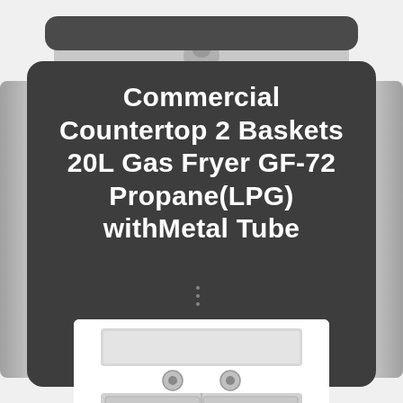Commercial Countertop 2 Baskets 20L Gas Fryer GF-72 Propane(LPG) withMetal Tube
[Figure (photo): Commercial countertop double-basket gas fryer product photo showing stainless steel body with two frying baskets visible, displayed against a dark rounded-rectangle card background]